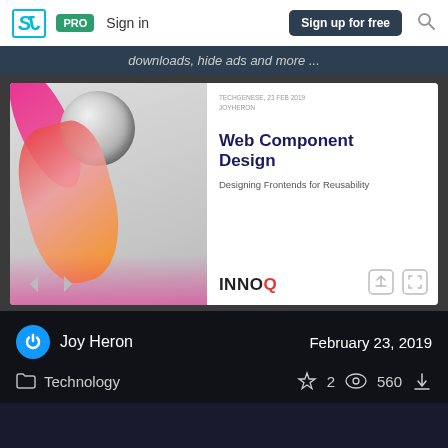SJ | PRO | Sign in | Sign up for free | Search
downloads, hide ads and more ...
[Figure (screenshot): Slide viewer showing Web Component Design presentation by INNOQ. Left side shows abstract art with colorful metallic sculpture. Right side shows slide text: TECHGENESE, 23 FEB 2019 / JOY HERON / Web Component Design / Designing Frontends for Reusability / INNOQ logo. Navigation arrows and action icons at bottom.]
Joy Heron
February 23, 2019
Technology
2  560